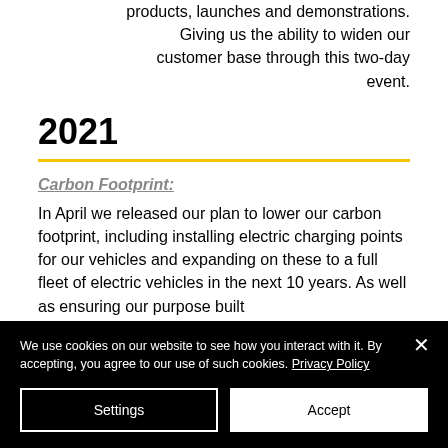products, launches and demonstrations. Giving us the ability to widen our customer base through this two-day event.
2021
Carbon Footprint:
In April we released our plan to lower our carbon footprint, including installing electric charging points for our vehicles and expanding on these to a full fleet of electric vehicles in the next 10 years. As well as ensuring our purpose built
We use cookies on our website to see how you interact with it. By accepting, you agree to our use of such cookies. Privacy Policy
Settings
Accept